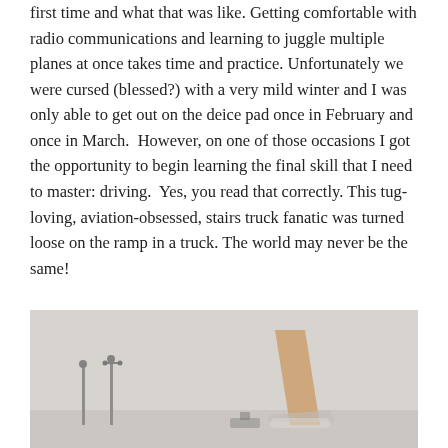first time and what that was like. Getting comfortable with radio communications and learning to juggle multiple planes at once takes time and practice. Unfortunately we were cursed (blessed?) with a very mild winter and I was only able to get out on the deice pad once in February and once in March.  However, on one of those occasions I got the opportunity to begin learning the final skill that I need to master: driving.  Yes, you read that correctly. This tug-loving, aviation-obsessed, stairs truck fanatic was turned loose on the ramp in a truck. The world may never be the same!
[Figure (photo): Outdoor airport ramp scene in overcast/foggy conditions. Visible are tall lamp posts and the tail section of a large commercial aircraft (possibly showing orange/gold livery on the tail). The scene appears hazy and grey.]